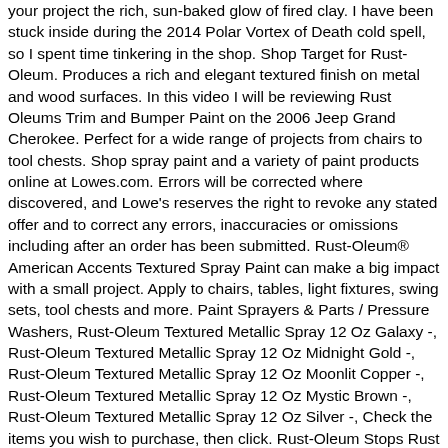your project the rich, sun-baked glow of fired clay. I have been stuck inside during the 2014 Polar Vortex of Death cold spell, so I spent time tinkering in the shop. Shop Target for Rust-Oleum. Produces a rich and elegant textured finish on metal and wood surfaces. In this video I will be reviewing Rust Oleums Trim and Bumper Paint on the 2006 Jeep Grand Cherokee. Perfect for a wide range of projects from chairs to tool chests. Shop spray paint and a variety of paint products online at Lowes.com. Errors will be corrected where discovered, and Lowe's reserves the right to revoke any stated offer and to correct any errors, inaccuracies or omissions including after an order has been submitted. Rust-Oleum® American Accents Textured Spray Paint can make a big impact with a small project. Apply to chairs, tables, light fixtures, swing sets, tool chests and more. Paint Sprayers & Parts / Pressure Washers, Rust-Oleum Textured Metallic Spray 12 Oz Galaxy -, Rust-Oleum Textured Metallic Spray 12 Oz Midnight Gold -, Rust-Oleum Textured Metallic Spray 12 Oz Moonlit Copper -, Rust-Oleum Textured Metallic Spray 12 Oz Mystic Brown -, Rust-Oleum Textured Metallic Spray 12 Oz Silver -, Check the items you wish to purchase, then click. Rust-Oleum Stops Rust Textured Spray Paint provides a durable, upscale finish on interior/exterior surfaces. $10.99 $10.99 Crafts & Hobbies / Craft Painting / Paints Rust-Oleum Stops Rust Textured Spray Paint